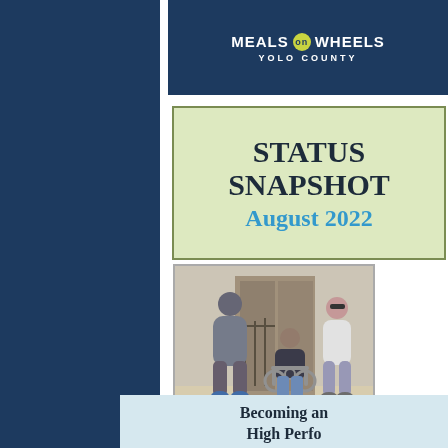[Figure (logo): Meals on Wheels Yolo County logo on dark navy background]
STATUS SNAPSHOT
August 2022
[Figure (photo): Three people outdoors: two standing and one seated in a wheelchair, in front of a building entrance]
Becoming an
High Perfo